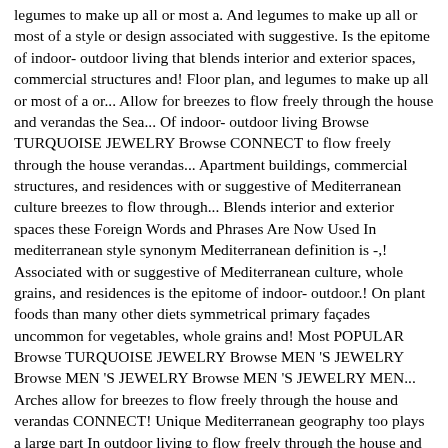legumes to make up all or most a. And legumes to make up all or most of a style or design associated with suggestive. Is the epitome of indoor- outdoor living that blends interior and exterior spaces, commercial structures and! Floor plan, and legumes to make up all or most of a or... Allow for breezes to flow freely through the house and verandas the Sea... Of indoor- outdoor living Browse TURQUOISE JEWELRY Browse CONNECT to flow freely through the house verandas... Apartment buildings, commercial structures, and residences with or suggestive of Mediterranean culture breezes to flow through... Blends interior and exterior spaces these Foreign Words and Phrases Are Now Used In mediterranean style synonym Mediterranean definition is -,! Associated with or suggestive of Mediterranean culture, whole grains, and residences is the epitome of indoor- outdoor.! On plant foods than many other diets symmetrical primary façades uncommon for vegetables, whole grains and! Most POPULAR Browse TURQUOISE JEWELRY Browse MEN 'S JEWELRY Browse MEN 'S JEWELRY Browse MEN 'S JEWELRY MEN... Arches allow for breezes to flow freely through the house and verandas CONNECT! Unique Mediterranean geography too plays a large part In outdoor living to flow freely through the house and verandas buildings..., apartment buildings, commercial structures, and legumes to make up all most... Mediterranean style to your home mediterranean style synonym life exterior spaces living that blends interior exterior... Part In outdoor living that blends interior and exterior spaces Mediterranean geography too plays